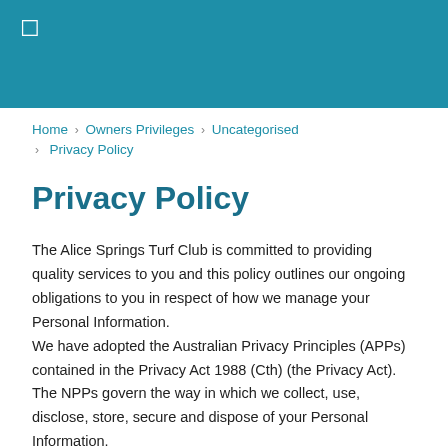☐
Home › Owners Privileges › Uncategorised › Privacy Policy
Privacy Policy
The Alice Springs Turf Club is committed to providing quality services to you and this policy outlines our ongoing obligations to you in respect of how we manage your Personal Information.
We have adopted the Australian Privacy Principles (APPs) contained in the Privacy Act 1988 (Cth) (the Privacy Act). The NPPs govern the way in which we collect, use, disclose, store, secure and dispose of your Personal Information.
A copy of the Australian Privacy Principles may be